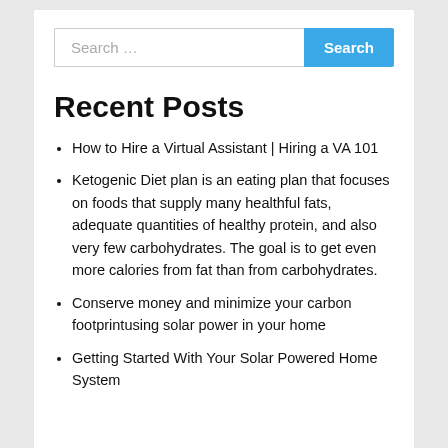Recent Posts
How to Hire a Virtual Assistant | Hiring a VA 101
Ketogenic Diet plan is an eating plan that focuses on foods that supply many healthful fats, adequate quantities of healthy protein, and also very few carbohydrates. The goal is to get even more calories from fat than from carbohydrates.
Conserve money and minimize your carbon footprintusing solar power in your home
Getting Started With Your Solar Powered Home System